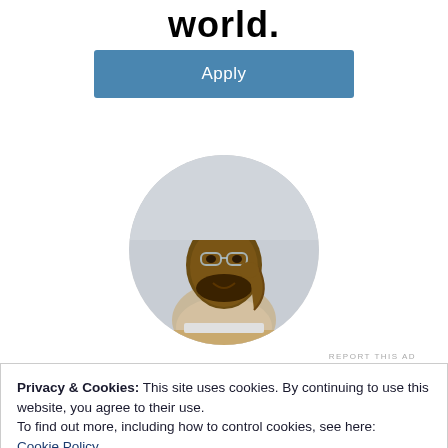world.
Apply
[Figure (photo): A young man with glasses and a beard sitting at a desk, resting his chin on his hand and looking upward thoughtfully, displayed in a circular crop.]
REPORT THIS AD
Privacy & Cookies: This site uses cookies. By continuing to use this website, you agree to their use.
To find out more, including how to control cookies, see here: Cookie Policy
Close and accept
We all have them!